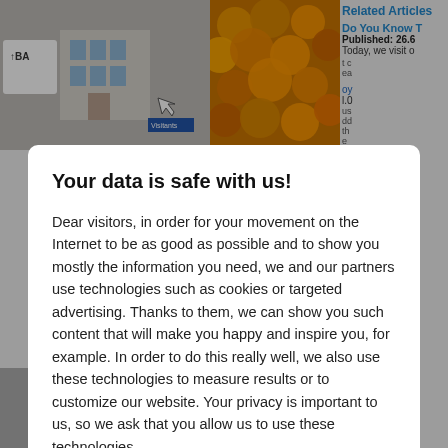[Figure (screenshot): Background webpage with images and related articles sidebar, partially visible behind modal overlay]
Your data is safe with us!
Dear visitors, in order for your movement on the Internet to be as good as possible and to show you mostly the information you need, we and our partners use technologies such as cookies or targeted advertising. Thanks to them, we can show you such content that will make you happy and inspire you, for example. In order to do this really well, we also use these technologies to measure results or to customize our website. Your privacy is important to us, so we ask that you allow us to use these technologies.
Accept
Deny
Set